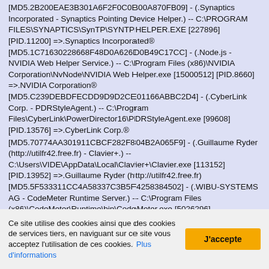[MD5.2B200EAE3B301A6F2F0C0B00A870FB09] - (.Synaptics Incorporated - Synaptics Pointing Device Helper.) -- C:\PROGRAM FILES\SYNAPTICS\SynTP\SYNTPHELPER.EXE [227896] [PID.11200] =>.Synaptics Incorporated® [MD5.1C71630228668F48D0A626D0B49C17CC] - (.Node.js - NVIDIA Web Helper Service.) -- C:\Program Files (x86)\NVIDIA Corporation\NvNode\NVIDIA Web Helper.exe [15000512] [PID.8660] =>.NVIDIA Corporation® [MD5.C239DEBDFECDD9D9D2CE01166ABBC2D4] - (.CyberLink Corp. - PDRStyleAgent.) -- C:\Program Files\CyberLink\PowerDirector16\PDRStyleAgent.exe [99608] [PID.13576] =>.CyberLink Corp.® [MD5.70774AA301911CBCF282F804B2A065F9] - (.Guillaume Ryder (http://utilfr42.free.fr) - Clavier+.) -- C:\Users\VIDE\AppData\Local\Clavier+\Clavier.exe [113152] [PID.13952] =>.Guillaume Ryder (http://utilfr42.free.fr) [MD5.5F533311CC4A58337C3B5F4258384502] - (.WIBU-SYSTEMS AG - CodeMeter Runtime Server.) -- C:\Program Files (x86)\CodeMeter\Runtime\bin\CodeMeter.exe [5026296]
Ce site utilise des cookies ainsi que des cookies de services tiers, en naviguant sur ce site vous acceptez l'utilisation de ces cookies. Plus d'informations